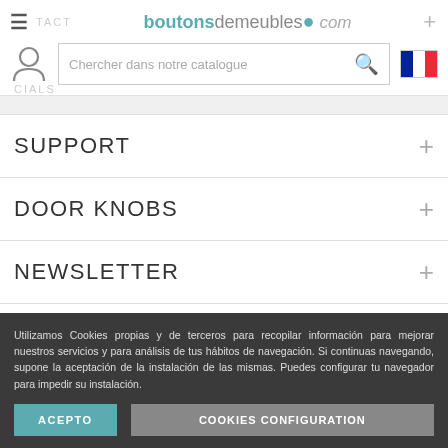boutonsdemeubles.com
[Figure (screenshot): Search bar with placeholder text 'Chercher dans notre catalogue' and French flag icon]
SUPPORT
DOOR KNOBS
NEWSLETTER
Utilizamos Cookies propias y de terceros para recopilar información para mejorar nuestros servicios y para análisis de tus hábitos de navegación. Si continuas navegando, supone la aceptación de la instalación de las mismas. Puedes configurar tu navegador para impedir su instalación.
ACEPTO | COOKIES CONFIGURATION